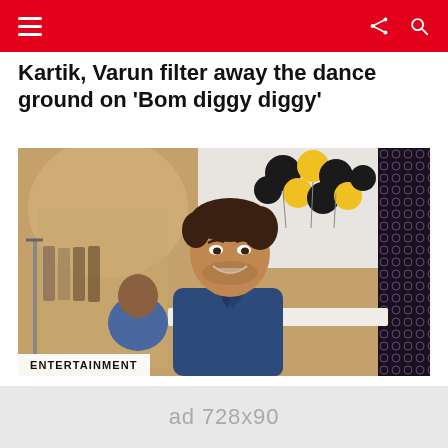Navigation bar with hamburger menu, share icon, search icon on red background
Kartik, Varun filter away the dance ground on 'Bom diggy diggy'
[Figure (photo): Young man in navy blue shirt smiling at camera inside a clothing store, with black and yellow balloons in background. Another person in blue shirt visible behind him. Clothes hanging on rack to the left, ornate dark fabric to the right.]
ENTERTAINMENT
Munawar Faruqui's present in Bengaluru cancelled: Police
× close
ad 728x90